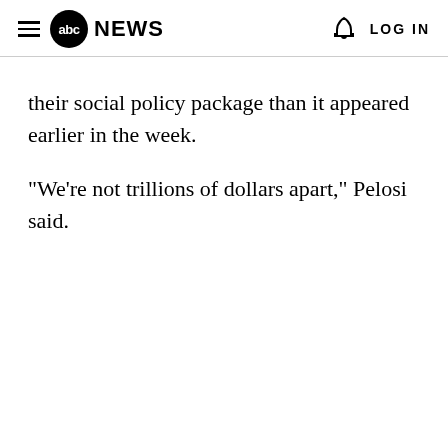≡ abc NEWS   🔔   LOG IN
their social policy package than it appeared earlier in the week.
"We're not trillions of dollars apart," Pelosi said.